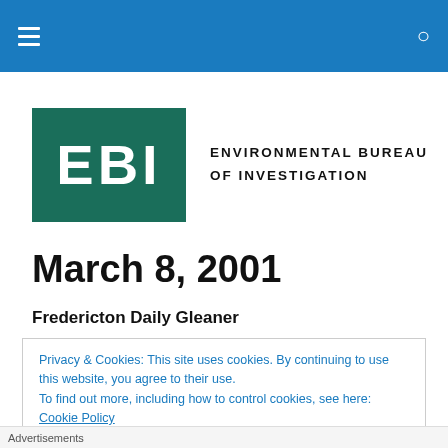EBI - Environmental Bureau of Investigation
[Figure (logo): EBI logo: dark teal rectangle with white bold letters 'EBI', beside text 'ENVIRONMENTAL BUREAU OF INVESTIGATION']
March 8, 2001
Fredericton Daily Gleaner
Privacy & Cookies: This site uses cookies. By continuing to use this website, you agree to their use.
To find out more, including how to control cookies, see here: Cookie Policy
Close and accept
Advertisements